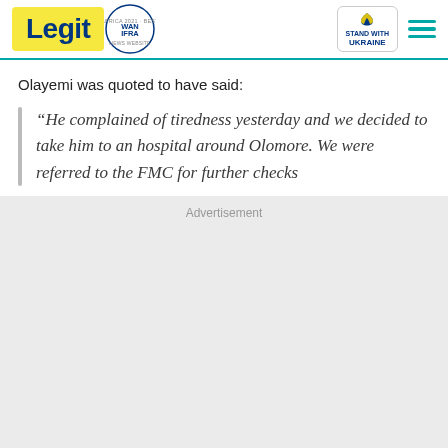Legit | WAN-IFRA 2021 Best News Website in Africa | Stand with Ukraine
Olayemi was quoted to have said:
“He complained of tiredness yesterday and we decided to take him to an hospital around Olomore. We were referred to the FMC for further checks
Advertisement